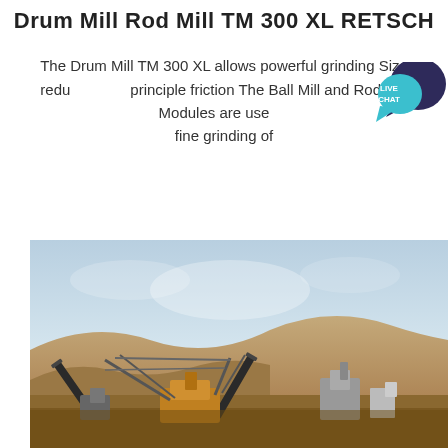Drum Mill Rod Mill TM 300 XL RETSCH
The Drum Mill TM 300 XL allows powerful grinding Size reduction principle friction The Ball Mill and Rod Mill Modules are used fine grinding of
[Figure (photo): Industrial mining/grinding facility with conveyor belts and equipment against a desert hillside backdrop under a hazy sky.]